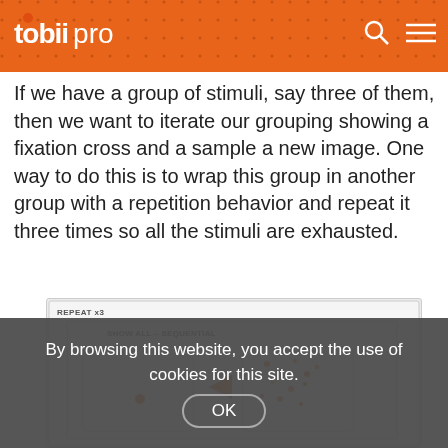tobii pro
If we have a group of stimuli, say three of them, then we want to iterate our grouping showing a fixation cross and a sample a new image. One way to do this is to wrap this group in another group with a repetition behavior and repeat it three times so all the stimuli are exhausted.
[Figure (screenshot): Screenshot of Tobii Pro software showing a REPEAT x3 block containing a SHOW ALL – SEQUENTIAL group with two stimulus thumbnails and a play arrow between them.]
By browsing this website, you accept the use of cookies for this site.